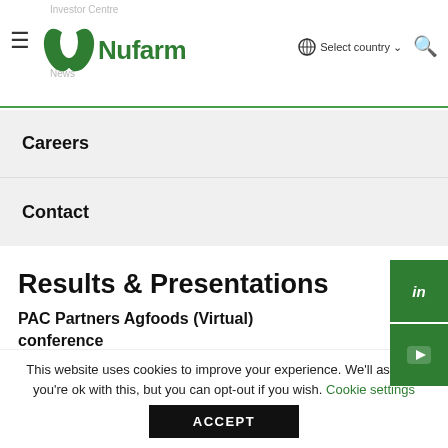Investor Centre | Nufarm | Select country | News
Careers
Contact
Results & Presentations
PAC Partners Agfoods (Virtual) conference
This website uses cookies to improve your experience. We'll assume you're ok with this, but you can opt-out if you wish. Cookie settings ACCEPT